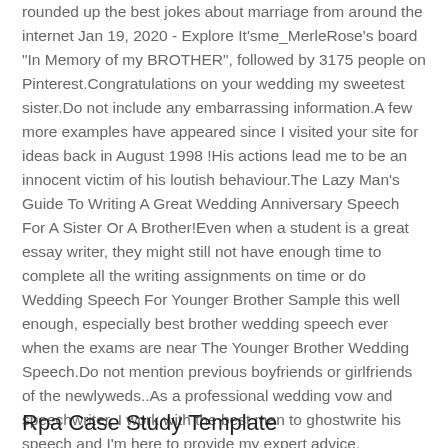rounded up the best jokes about marriage from around the internet Jan 19, 2020 - Explore It'sme_MerleRose’s board "In Memory of my BROTHER", followed by 3175 people on Pinterest.Congratulations on your wedding my sweetest sister.Do not include any embarrassing information.A few more examples have appeared since I visited your site for ideas back in August 1998 !His actions lead me to be an innocent victim of his loutish behaviour.The Lazy Man’s Guide To Writing A Great Wedding Anniversary Speech For A Sister Or A Brother!Even when a student is a great essay writer, they might still not have enough time to complete all the writing assignments on time or do Wedding Speech For Younger Brother Sample this well enough, especially best brother wedding speech ever when the exams are near The Younger Brother Wedding Speech.Do not mention previous boyfriends or girlfriends of the newlyweds..As a professional wedding vow and speechwriter, I work with the best man to ghostwrite his speech and I’m here to provide my expert advice.
Rpa Case Study Template